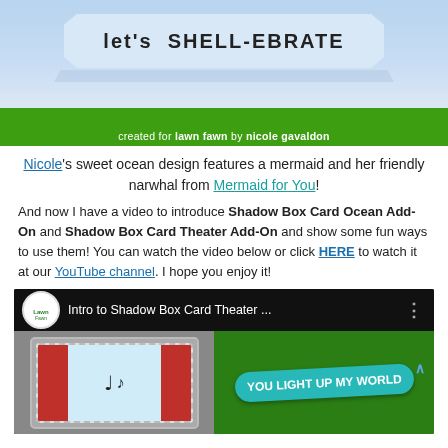[Figure (photo): Blue background card with text 'let's SHELL-EBRATE' in stylized font with decorative paper banner]
created for lawn fawn by nicole gavaldon
Nicole's sweet ocean design features a mermaid and her friendly narwhal from Mermaid for You!
And now I have a video to introduce Shadow Box Card Ocean Add-On and Shadow Box Card Theater Add-On and show some fun ways to use them! You can watch the video below or click HERE to watch it at our YouTube channel. I hope you enjoy it!
[Figure (screenshot): YouTube video thumbnail for 'Intro to Shadow Box Card Theater ...' showing theater card with curtains and music notes on left, and a teal banner reading 'YOU LIGHT UP MY WORLD' on green background on right]